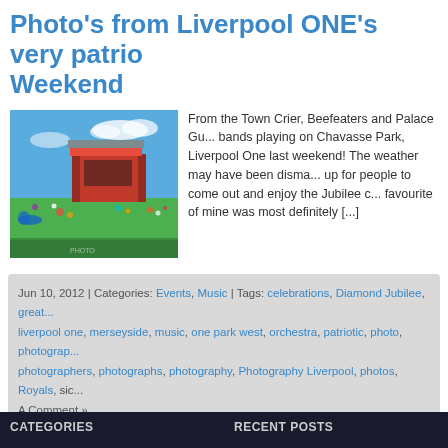Photo's from Liverpool ONE's very patrio Weekend
[Figure (photo): Outdoor event at Chavasse Park, Liverpool ONE — crowd of people on green grass in front of a large red stage structure under a blue sky with some clouds]
From the Town Crier, Beefeaters and Palace Gu... bands playing on Chavasse Park, Liverpool One last weekend! The weather may have been disma... up for people to come out and enjoy the Jubilee c... favourite of mine was most definitely [...]
Jun 10, 2012 | Categories: Events, Music | Tags: celebrations, Diamond Jubilee, great... liverpool one, merseyside, music, one park west, orchestra, patriotic, photo, photograp... photographers, photographs, photography, Photography Liverpool, photos, Royals, sic... A Comment »
« Older Entries
CATEGORIES   RECENT POSTS